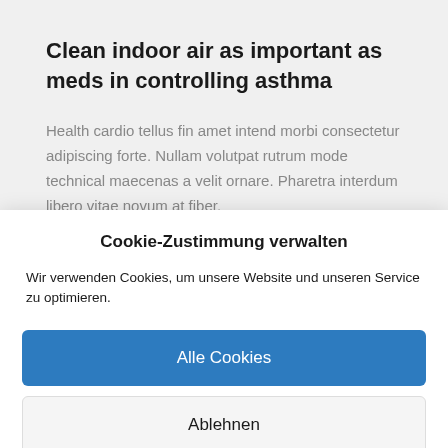Clean indoor air as important as meds in controlling asthma
Health cardio tellus fin amet intend morbi consectetur adipiscing forte. Nullam volutpat rutrum mode technical maecenas a velit ornare. Pharetra interdum libero vitae novum at fiber.
Cookie-Zustimmung verwalten
Wir verwenden Cookies, um unsere Website und unseren Service zu optimieren.
Alle Cookies
Ablehnen